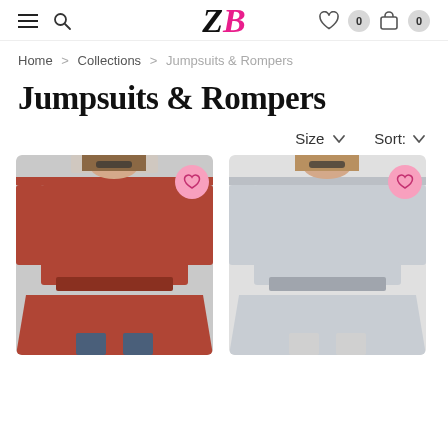ZB navigation header with hamburger menu, search icon, ZB logo, wishlist (0) and cart (0)
Home > Collections > Jumpsuits & Rompers
Jumpsuits & Rompers
Size ∨   Sort: ∨
[Figure (photo): Product photo: woman wearing red off-shoulder long-sleeve belted top/jumpsuit with heart wishlist button overlay]
[Figure (photo): Product photo: woman wearing light grey/silver off-shoulder long-sleeve belted top/jumpsuit with heart wishlist button overlay]